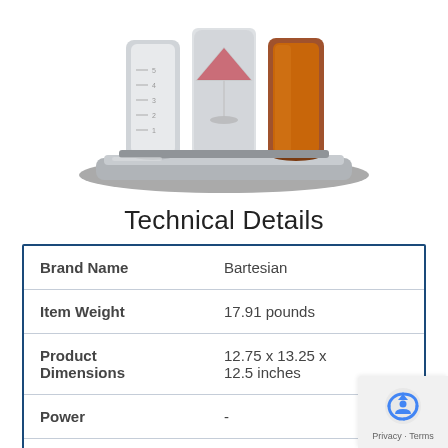[Figure (photo): Product photo of a Bartesian cocktail maker with three bottles/capsules in a metallic silver base unit, viewed from slightly above]
Technical Details
| Brand Name | Bartesian |
| Item Weight | 17.91 pounds |
| Product Dimensions | 12.75 x 13.25 x 12.5 inches |
| Power | - |
| Bowls | 1 |
| Color | Silver |